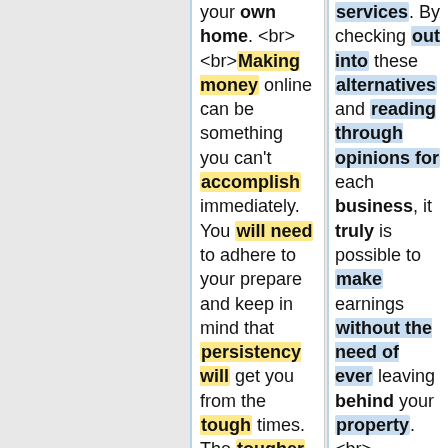your own home. <br><br>Making money online can be something you can't accomplish immediately. You will need to adhere to your prepare and keep in mind that persistency will get you from the tough times. The tougher you work at it, the greater you are going to make, so stainlesss steel your determination while keeping
services. By checking out into these alternatives and reading through opinions for each business, it truly is possible to make earnings without the need of ever leaving behind your property. <br><br>Generating an income online can be something you can't do immediately. You have to adhere to your prepare and keep in mind